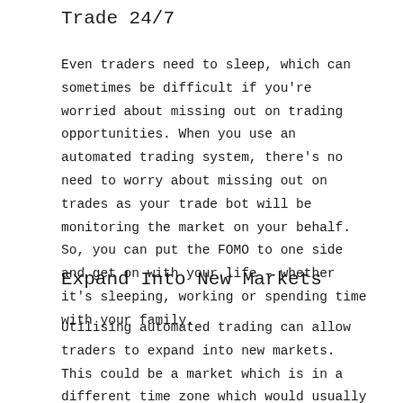Trade 24/7
Even traders need to sleep, which can sometimes be difficult if you're worried about missing out on trading opportunities. When you use an automated trading system, there's no need to worry about missing out on trades as your trade bot will be monitoring the market on your behalf. So, you can put the FOMO to one side and get on with your life – whether it's sleeping, working or spending time with your family.
Expand Into New Markets
Utilising automated trading can allow traders to expand into new markets. This could be a market which is in a different time zone which would usually be impossible to trade within due to the